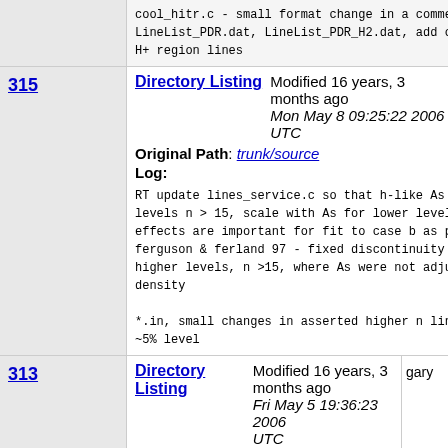cool_hitr.c - small format change in a comment
LineList_PDR.dat, LineList_PDR_H2.dat, add opti
H+ region lines
| Rev | Type | Details | User |
| --- | --- | --- | --- |
| 315 | Directory Listing | Modified 16 years, 3 months ago
Mon May 8 09:25:22 2006 UTC
Original Path: trunk/source
Log:
RT update lines_service.c so that h-like As for
levels n > 15, scale with As for lower levels.
effects are important for fit to case b as per
ferguson & ferland 97 - fixed discontinuity at
higher levels, n >15, where As were not adjuste
density

*.in, small changes in asserted higher n lines
~5% level | gary |
| 313 | Directory Listing | Modified 16 years, 3 months ago
Fri May 5 19:36:23 2006 UTC
Original Path: trunk/source | gary |